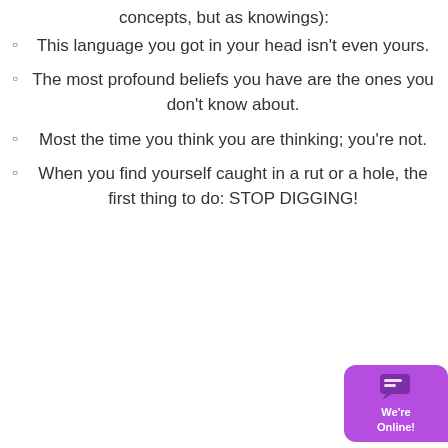concepts, but as knowings):
This language you got in your head isn't even yours.
The most profound beliefs you have are the ones you don't know about.
Most the time you think you are thinking; you're not.
When you find yourself caught in a rut or a hole, the first thing to do: STOP DIGGING!
[Figure (other): Chat widget button with speech bubble icon and 'We're Online!' text on purple background]